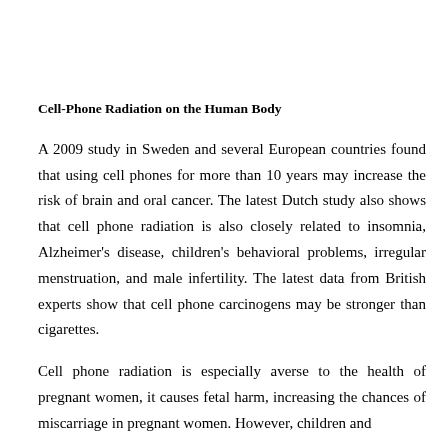Cell-Phone Radiation on the Human Body
A 2009 study in Sweden and several European countries found that using cell phones for more than 10 years may increase the risk of brain and oral cancer. The latest Dutch study also shows that cell phone radiation is also closely related to insomnia, Alzheimer’s disease, children’s behavioral problems, irregular menstruation, and male infertility. The latest data from British experts show that cell phone carcinogens may be stronger than cigarettes.
Cell phone radiation is especially averse to the health of pregnant women, it causes fetal harm, increasing the chances of miscarriage in pregnant women. However, children and